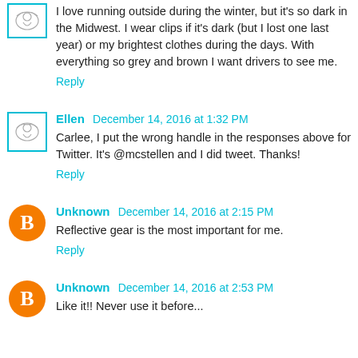I love running outside during the winter, but it's so dark in the Midwest. I wear clips if it's dark (but I lost one last year) or my brightest clothes during the days. With everything so grey and brown I want drivers to see me.
Reply
Ellen December 14, 2016 at 1:32 PM
Carlee, I put the wrong handle in the responses above for Twitter. It's @mcstellen and I did tweet. Thanks!
Reply
Unknown December 14, 2016 at 2:15 PM
Reflective gear is the most important for me.
Reply
Unknown December 14, 2016 at 2:53 PM
Like it!! Never use it before...